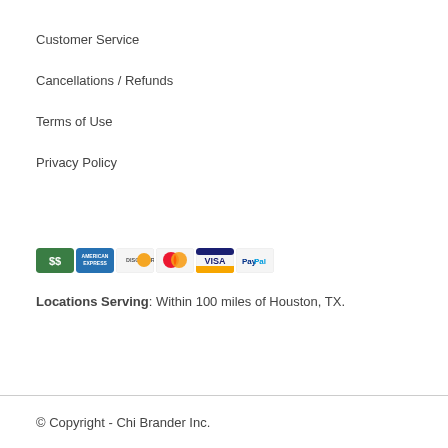Customer Service
Cancellations / Refunds
Terms of Use
Privacy Policy
[Figure (other): Row of payment method icons: cash/dollar, American Express, Discover, Mastercard, Visa, PayPal]
Locations Serving: Within 100 miles of Houston, TX.
© Copyright - Chi Brander Inc.